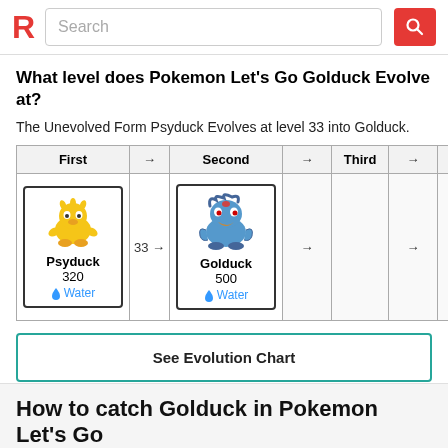R Search
What level does Pokemon Let's Go Golduck Evolve at?
The Unevolved Form Psyduck Evolves at level 33 into Golduck.
| First | → | Second | → | Third | → | Final |
| --- | --- | --- | --- | --- | --- | --- |
| Psyduck 320 Water | 33 → | Golduck 500 Water |  |  |  |  |
See Evolution Chart
How to catch Golduck in Pokemon Let's Go